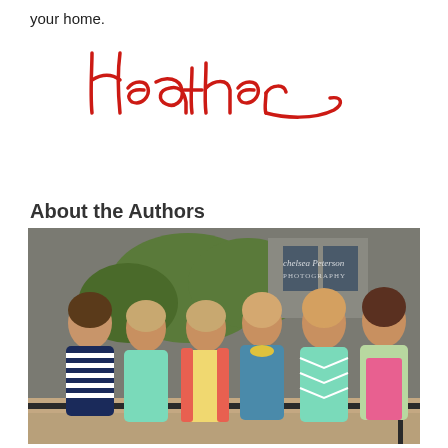your home.
[Figure (illustration): Cursive signature reading 'Heather' in red script]
About the Authors
[Figure (photo): Group photo of six women smiling outdoors in front of a gray brick building and trees. Watermark reads 'Chelsea Peterson Photography'. Women are wearing colorful outfits including striped, mint, floral, teal, chevron patterns.]